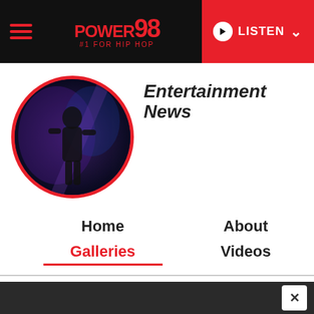POWER 98 #1 FOR HIP HOP — LISTEN
Entertainment News
[Figure (photo): Circular profile photo with red border showing a performer on stage with dramatic blue/purple lighting]
Home
Galleries
About
Videos
10 Inspiring Oprah Winfrey Quotes